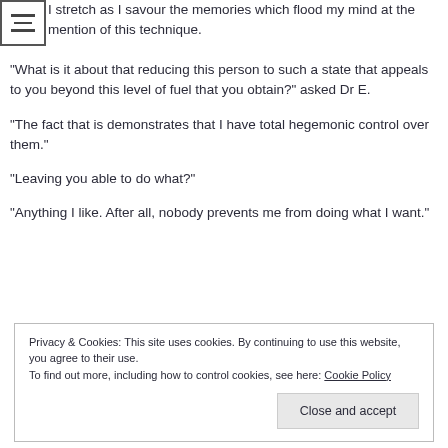I stretch as I savour the memories which flood my mind at the mention of this technique.
“What is it about that reducing this person to such a state that appeals to you beyond this level of fuel that you obtain?” asked Dr E.
“The fact that is demonstrates that I have total hegemonic control over them.”
“Leaving you able to do what?”
“Anything I like. After all, nobody prevents me from doing what I want.”
Privacy & Cookies: This site uses cookies. By continuing to use this website, you agree to their use. To find out more, including how to control cookies, see here: Cookie Policy
Close and accept